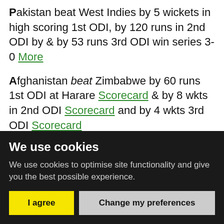Pakistan beat West Indies by 5 wickets in high scoring 1st ODI, by 120 runs in 2nd ODI by & by 53 runs 3rd ODI win series 3-0 More
Afghanistan beat Zimbabwe by 60 runs 1st ODI at Harare Scorecard & by 8 wkts in 2nd ODI Scorecard and by 4 wkts 3rd ODI Scorecard
West Indies beat Netherlands 3-0 in 3 match T20 series at Amsteleveen More Dutch get close in 3rd match
We use cookies
We use cookies to optimise site functionality and give you the best possible experience.